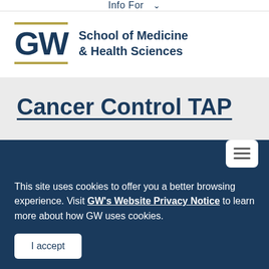Info For ▾
[Figure (logo): GW School of Medicine & Health Sciences logo with gold horizontal bars above and below the GW letters]
Cancer Control TAP
This site uses cookies to offer you a better browsing experience. Visit GW's Website Privacy Notice to learn more about how GW uses cookies.
I accept